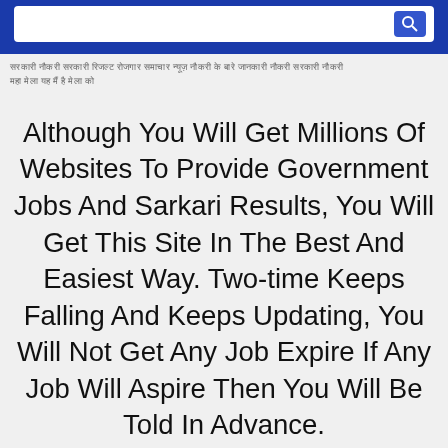[Figure (screenshot): Blue banner with search bar and blue search button icon at top of page]
Hindi text (transliterated): sarkari naukri sarkari result rojgar samachar news naukri government result sarkari naukri maha mela ye main hai
Although You Will Get Millions Of Websites To Provide Government Jobs And Sarkari Results, You Will Get This Site In The Best And Easiest Way. Two-time Keeps Falling And Keeps Updating, You Will Not Get Any Job Expire If Any Job Will Aspire Then You Will Be Told In Advance.
10thPassJob.org Is Our Only Site , It May Be Similar To This May Attract You To It But